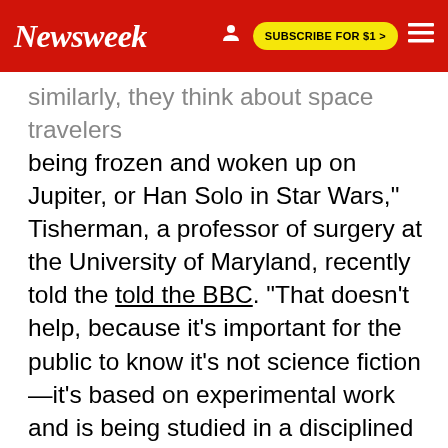Newsweek | SUBSCRIBE FOR $1 >
...similarly, they think about space travelers being frozen and woken up on Jupiter, or Han Solo in Star Wars," Tisherman, a professor of surgery at the University of Maryland, recently told the BBC. "That doesn't help, because it's important for the public to know it's not science fiction—it's based on experimental work and is being studied in a disciplined manner, before we use it to stop people dying."